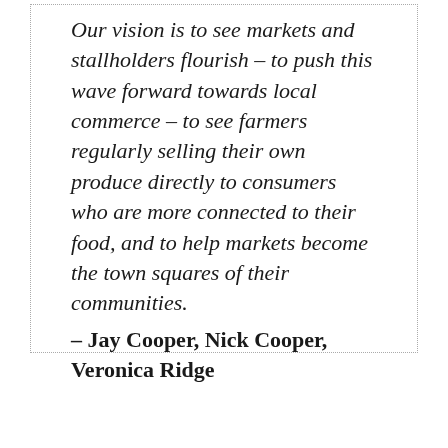Our vision is to see markets and stallholders flourish – to push this wave forward towards local commerce – to see farmers regularly selling their own produce directly to consumers who are more connected to their food, and to help markets become the town squares of their communities.
– Jay Cooper, Nick Cooper, Veronica Ridge